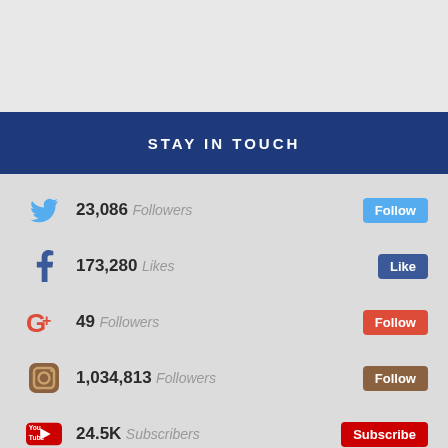STAY IN TOUCH
23,086 Followers — Twitter — Follow
173,280 Likes — Facebook — Like
49 Followers — Google+ — Follow
1,034,813 Followers — Instagram — Follow
24.5K Subscribers — YouTube — Subscribe
Join the Email List